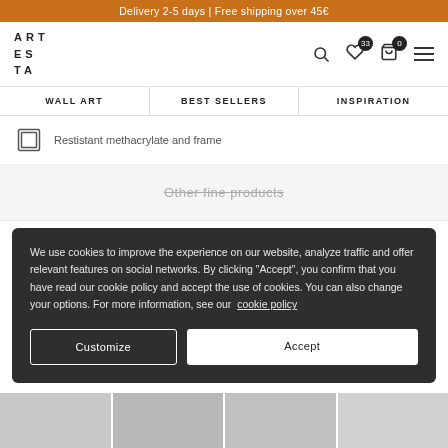Delivery 2-5 days | Free shipping over 45€
[Figure (logo): ARTESTA logo in spaced lettering]
Restistant methacrylate and frame
Other fine products
We use cookies to improve the experience on our website, analyze traffic and offer relevant features on social networks. By clicking "Accept", you confirm that you have read our cookie policy and accept the use of cookies. You can also change your options. For more information, see our cookie policy
Customize
Accept